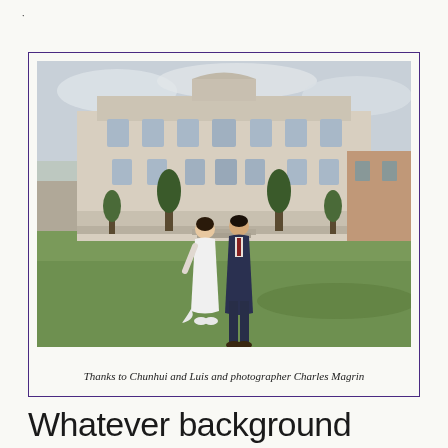[Figure (photo): Wedding couple, bride in white dress and groom in navy suit, standing on green lawn in front of a grand French château/mansion with ornate stone facade, topiary trees, overcast sky.]
Thanks to Chunhui and Luis and photographer Charles Magrin
Whatever background landscape